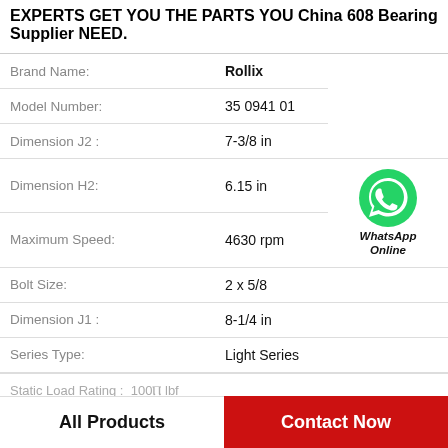EXPERTS GET YOU THE PARTS YOU China 608 Bearing Supplier NEED.
| Property | Value |
| --- | --- |
| Brand Name: | Rollix |
| Model Number: | 35 0941 01 |
| Dimension J2 : | 7-3/8 in |
| Dimension H2: | 6.15 in |
| Maximum Speed: | 4630 rpm |
| Bolt Size: | 2 x 5/8 |
| Dimension J1 : | 8-1/4 in |
| Series Type: | Light Series |
WhatsApp Online
All Products    Contact Now